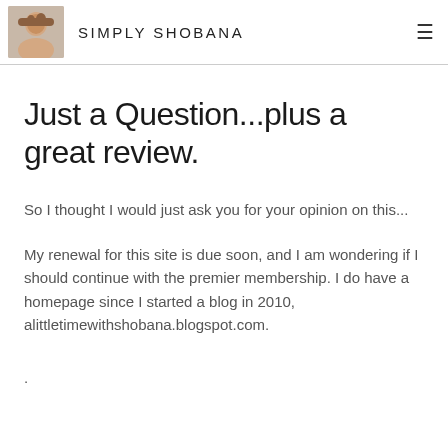SIMPLY SHOBANA
Just a Question...plus a great review.
So I thought I would just ask you for your opinion on this...
My renewal for this site is due soon, and I am wondering if I should continue with the premier membership. I do have a homepage since I started a blog in 2010, alittletimewithshobana.blogspot.com.
.